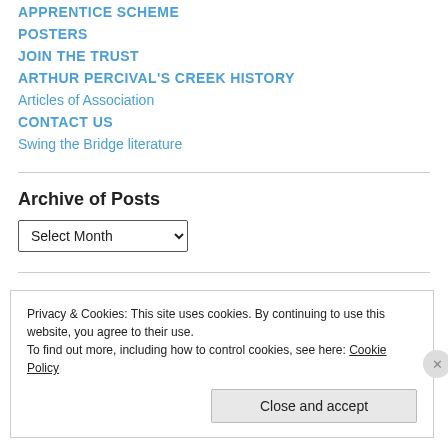APPRENTICE SCHEME
POSTERS
JOIN THE TRUST
ARTHUR PERCIVAL'S CREEK HISTORY
Articles of Association
CONTACT US
Swing the Bridge literature
Archive of Posts
Select Month
Privacy & Cookies: This site uses cookies. By continuing to use this website, you agree to their use.
To find out more, including how to control cookies, see here: Cookie Policy
Close and accept